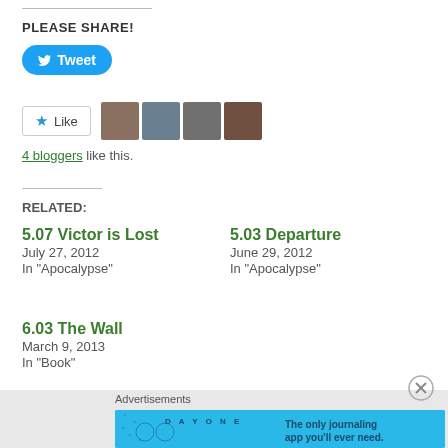PLEASE SHARE!
[Figure (other): Tweet button (blue rounded button with Twitter bird icon and 'Tweet' text)]
[Figure (other): Like button with star icon and 4 blogger avatar photos]
4 bloggers like this.
RELATED:
5.07 Victor is Lost
July 27, 2012
In "Apocalypse"
5.03 Departure
June 29, 2012
In "Apocalypse"
6.03 The Wall
March 9, 2013
In "Book"
Advertisements
[Figure (other): Day One journaling app advertisement banner - blue background with 'The only journaling app you'll ever need.']